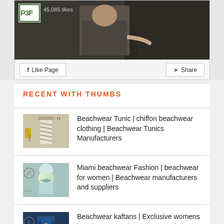[Figure (screenshot): Facebook page widget showing P3F logo with 45,085 likes, a dark background photo of a person, Like Page and Share buttons]
RECENT WITH THUMBS
Beachwear Tunic | chiffon beachwear clothing | Beachwear Tunics Manufacturers
Miami beachwear Fashion | beachwear for women | Beachwear manufacturers and suppliers
Beachwear kaftans | Exclusive womens beachwears » Glamorous Beachwear » Kaftan